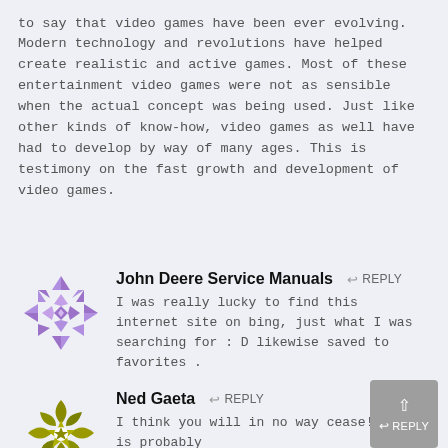to say that video games have been ever evolving. Modern technology and revolutions have helped create realistic and active games. Most of these entertainment video games were not as sensible when the actual concept was being used. Just like other kinds of know-how, video games as well have had to develop by way of many ages. This is testimony on the fast growth and development of video games.
John Deere Service Manuals  ↩ REPLY
I was really lucky to find this internet site on bing, just what I was searching for : D likewise saved to favorites .
Ned Gaeta  ↩ REPLY
I think you will in no way cease! This is probably